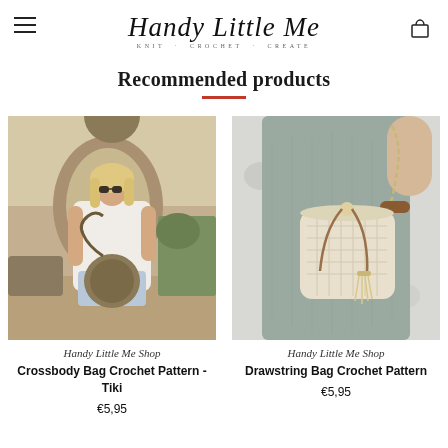Handy Little Me — KNIT · CROCHET · CREATE
Recommended products
[Figure (photo): Woman wearing a round crocheted crossbody bag in tan/brown, standing outdoors with a bright background]
Handy Little Me Shop
Crossbody Bag Crochet Pattern - Tiki
€5,95
[Figure (photo): Close-up of a person wearing a crocheted drawstring bucket bag in natural/cream color with tassel, over gray dress]
Handy Little Me Shop
Drawstring Bag Crochet Pattern
€5,95